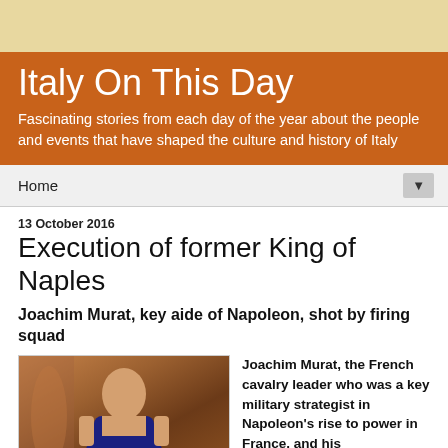Italy On This Day
Fascinating stories from each day of the year about the people and events that have shaped the culture and history of Italy
Home
13 October 2016
Execution of former King of Naples
Joachim Murat, key aide of Napoleon, shot by firing squad
[Figure (photo): Historical painting of Joachim Murat, a figure in period military/noble dress against a warm brownish-orange background]
Joachim Murat, the French cavalry leader who was a key military strategist in Napoleon's rise to power in France, and his subsequent...